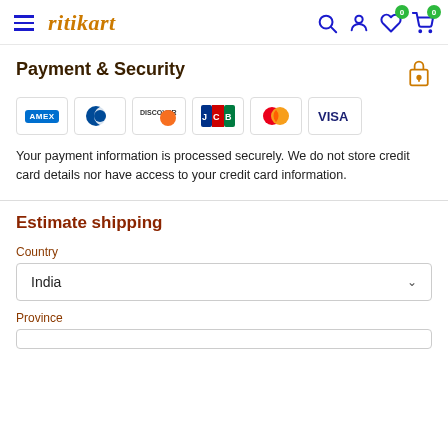ritikart
Payment & Security
[Figure (other): Payment card logos: AMEX, Diners Club, Discover, JCB, Mastercard, Visa]
Your payment information is processed securely. We do not store credit card details nor have access to your credit card information.
Estimate shipping
Country
India
Province